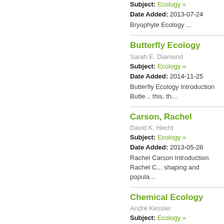Subject: Ecology »
Date Added: 2013-07-24
Bryophyte Ecology ...
Butterfly Ecology
Sarah E. Diamond
Subject: Ecology »
Date Added: 2014-11-25
Butterfly Ecology Introduction Butte... this, th...
Carson, Rachel
David K. Hecht
Subject: Ecology »
Date Added: 2013-05-28
Rachel Carson Introduction Rachel C... shaping and popula...
Chemical Ecology
André Kessler
Subject: Ecology »